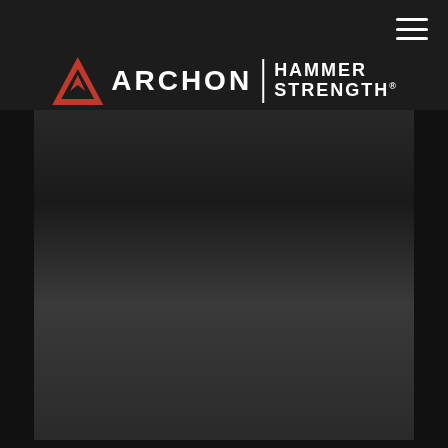[Figure (logo): Archon and Hammer Strength co-branded logo. Red triangular Archon symbol followed by ARCHON text, vertical divider, and HAMMER STRENGTH text in bold white on dark background.]
[Figure (photo): Black and white photograph of a muscular male athlete in a gym setting, wearing a sleeveless athletic shirt, standing with hands on hips in a confident pose. Gym equipment visible in background. Partial text 'ING CHAMPION' visible in bottom right of frame.]